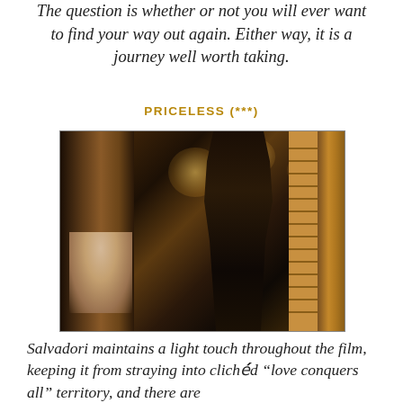The question is whether or not you will ever want to find your way out again. Either way, it is a journey well worth taking.
PRICELESS (***)
[Figure (photo): A woman in a backless black evening gown stands in a doorway framed by wooden door panels and shutters. In the background, a seated older man in a white shirt and warm bokeh city lights at night.]
Salvadori maintains a light touch throughout the film, keeping it from straying into clichéd "love conquers all" territory, and there are